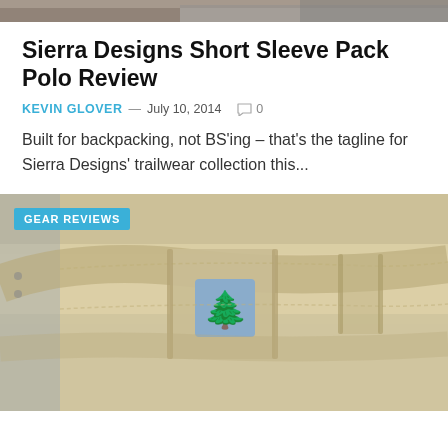[Figure (photo): Cropped top portion of a person wearing a dark jacket or shirt, visible at the very top of the page]
Sierra Designs Short Sleeve Pack Polo Review
KEVIN GLOVER — July 10, 2014  0
Built for backpacking, not BS'ing – that's the tagline for Sierra Designs' trailwear collection this...
[Figure (photo): Close-up photo of beige/khaki pants waistband with a blue Sierra Designs logo tag. A 'GEAR REVIEWS' badge overlays the top-left corner of the image.]